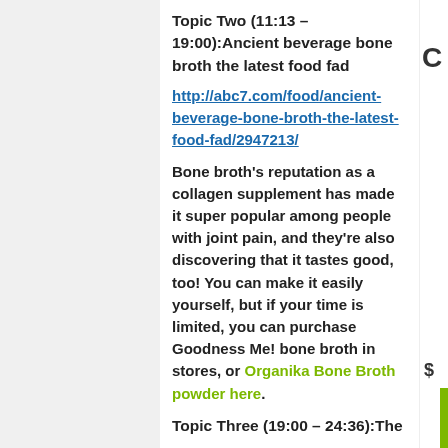Topic Two (11:13 – 19:00):Ancient beverage bone broth the latest food fad
http://abc7.com/food/ancient-beverage-bone-broth-the-latest-food-fad/2947213/
Bone broth's reputation as a collagen supplement has made it super popular among people with joint pain, and they're also discovering that it tastes good, too! You can make it easily yourself, but if your time is limited, you can purchase Goodness Me! bone broth in stores, or Organika Bone Broth powder here.
Topic Three (19:00 – 24:36):The